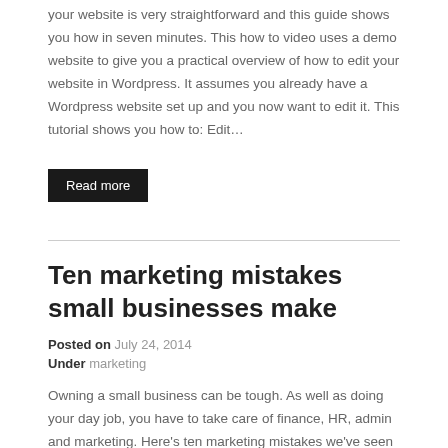your website is very straightforward and this guide shows you how in seven minutes. This how to video uses a demo website to give you a practical overview of how to edit your website in Wordpress. It assumes you already have a Wordpress website set up and you now want to edit it. This tutorial shows you how to: Edit…
Read more
Ten marketing mistakes small businesses make
Posted on July 24, 2014
Under marketing
Owning a small business can be tough. As well as doing your day job, you have to take care of finance, HR, admin and marketing. Here's ten marketing mistakes we've seen small businesses make, along with our tips on how to avoid them. Ten marketing mistakes small businesses make (and how to avoid them)   In summary, our top ten marketing mistakes small businesses make are: 1. Not knowing who your customers are and what